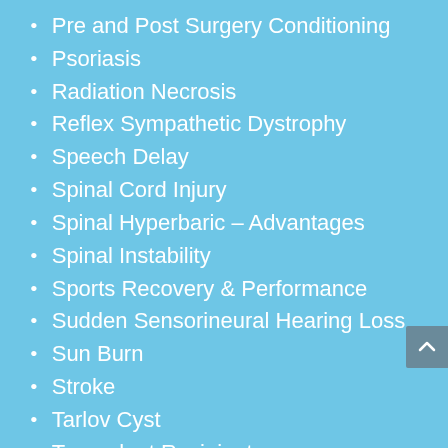Pre and Post Surgery Conditioning
Psoriasis
Radiation Necrosis
Reflex Sympathetic Dystrophy
Speech Delay
Spinal Cord Injury
Spinal Hyperbaric – Advantages
Spinal Instability
Sports Recovery & Performance
Sudden Sensorineural Hearing Loss
Sun Burn
Stroke
Tarlov Cyst
Transplant Recipient
Traumatic Brain Injury
Tumor Necrosis Factor Alpha
Ulcerative Colitis